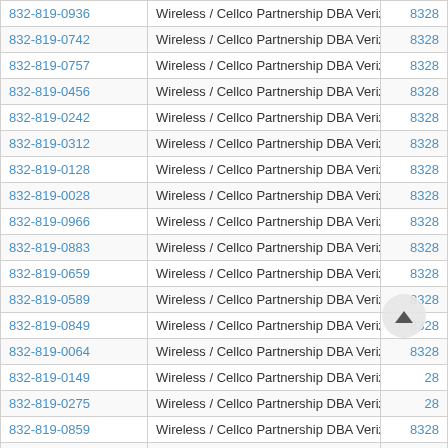| Phone | Carrier | Code |
| --- | --- | --- |
| 832-819-0936 | Wireless / Cellco Partnership DBA Verizon Wireless | 8328 |
| 832-819-0742 | Wireless / Cellco Partnership DBA Verizon Wireless | 8328 |
| 832-819-0757 | Wireless / Cellco Partnership DBA Verizon Wireless | 8328 |
| 832-819-0456 | Wireless / Cellco Partnership DBA Verizon Wireless | 8328 |
| 832-819-0242 | Wireless / Cellco Partnership DBA Verizon Wireless | 8328 |
| 832-819-0312 | Wireless / Cellco Partnership DBA Verizon Wireless | 8328 |
| 832-819-0128 | Wireless / Cellco Partnership DBA Verizon Wireless | 8328 |
| 832-819-0028 | Wireless / Cellco Partnership DBA Verizon Wireless | 8328 |
| 832-819-0966 | Wireless / Cellco Partnership DBA Verizon Wireless | 8328 |
| 832-819-0883 | Wireless / Cellco Partnership DBA Verizon Wireless | 8328 |
| 832-819-0659 | Wireless / Cellco Partnership DBA Verizon Wireless | 8328 |
| 832-819-0589 | Wireless / Cellco Partnership DBA Verizon Wireless | 8328 |
| 832-819-0849 | Wireless / Cellco Partnership DBA Verizon Wireless | 8328 |
| 832-819-0064 | Wireless / Cellco Partnership DBA Verizon Wireless | 8328 |
| 832-819-0149 | Wireless / Cellco Partnership DBA Verizon Wireless | 28 |
| 832-819-0275 | Wireless / Cellco Partnership DBA Verizon Wireless | 28 |
| 832-819-0859 | Wireless / Cellco Partnership DBA Verizon Wireless | 8328 |
| 832-819-0261 | Wireless / Cellco Partnership DBA Verizon Wireless | 8328 |